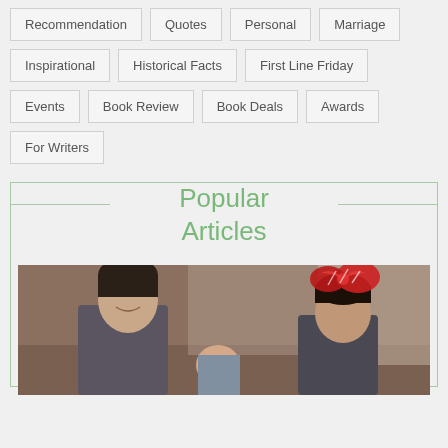Recommendation
Quotes
Personal
Marriage
Inspirational
Historical Facts
First Line Friday
Events
Book Review
Book Deals
Awards
For Writers
Popular Articles
[Figure (photo): Group photo of people at what appears to be a holiday gathering, with a red decorative bow visible]